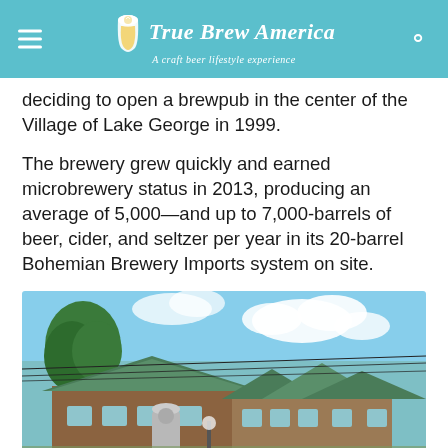True Brew America — A craft beer lifestyle experience
deciding to open a brewpub in the center of the Village of Lake George in 1999.
The brewery grew quickly and earned microbrewery status in 2013, producing an average of 5,000—and up to 7,000-barrels of beer, cider, and seltzer per year in its 20-barrel Bohemian Brewery Imports system on site.
[Figure (photo): Exterior photo of a rustic brewery building with green roof, wooden siding, outdoor seating, trees, and blue sky with clouds.]